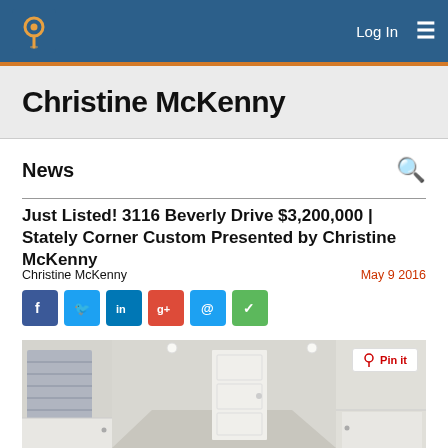Christine McKenny — Log In [navigation bar with logo]
Christine McKenny
News
Just Listed! 3116 Beverly Drive $3,200,000 | Stately Corner Custom Presented by Christine McKenny
Christine McKenny
May 9 2016
[Figure (photo): Interior photo of a luxury home hallway/mudroom with white cabinetry, recessed lighting, white paneled door, and plantation shutters. A 'Pin it' button overlay appears in the top right corner.]